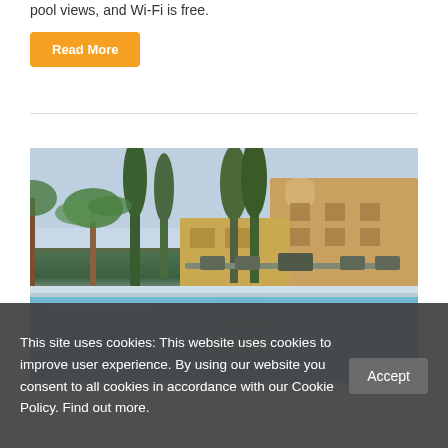pool views, and Wi-Fi is free.
Read More
[Figure (photo): Outdoor infinity pool with a view of a Mediterranean-style villa surrounded by palm trees and other tall trees, with lounge chairs and a table set visible near the pool edge under warm late-afternoon light.]
This site uses cookies: This website uses cookies to improve user experience. By using our website you consent to all cookies in accordance with our Cookie Policy. Find out more.
Accept